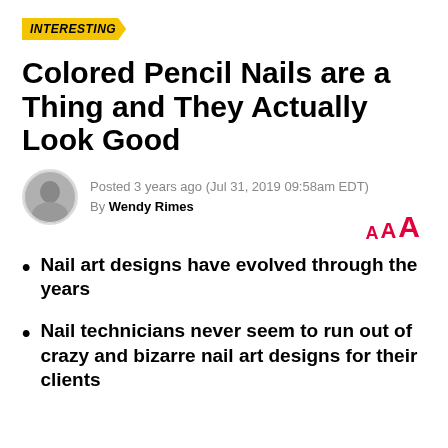INTERESTING
Colored Pencil Nails are a Thing and They Actually Look Good
Posted 3 years ago (Jul 31, 2019 09:58am EDT)
By Wendy Rimes
[Figure (other): Text size controls showing three 'A' letters in increasing size in red]
Nail art designs have evolved through the years
Nail technicians never seem to run out of crazy and bizarre nail art designs for their clients